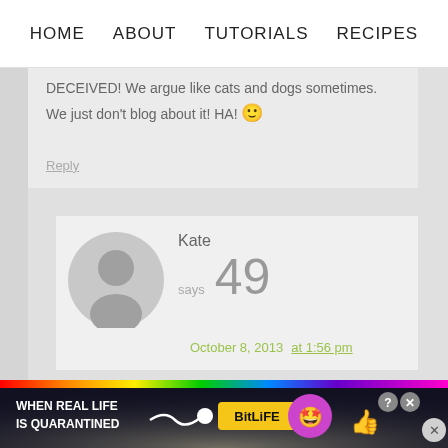HOME   ABOUT   TUTORIALS   RECIPES
DECEIVED! We argue like cats and dogs sometimes. We just don't blog about it! HA! 🙂
Reply
Kate says 49
October 8, 2013 at 1:56 pm
[Figure (screenshot): BitLife advertisement banner with rainbow gradient, emoji mascot, and close button]